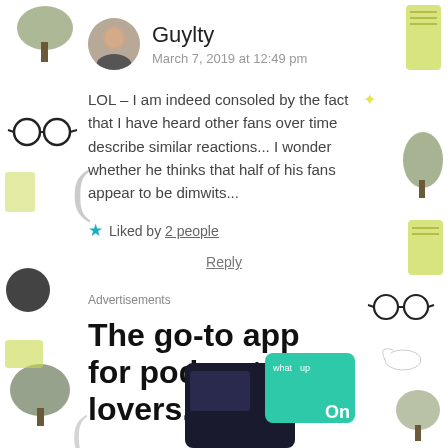Guylty
March 7, 2019 at 12:49 pm
LOL – I am indeed consoled by the fact that I have heard other fans over time describe similar reactions... I wonder whether he thinks that half of his fans appear to be dimwits...
★ Liked by 2 people
Reply
Advertisements
The go-to app for podcast lovers.